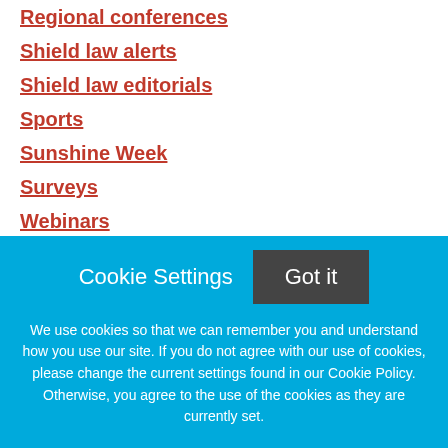Regional conferences
Shield law alerts
Shield law editorials
Sports
Sunshine Week
Surveys
Webinars
Member news/Industry updates
Education for Journalism
Video
Events
Cookie Settings  Got it

We use cookies so that we can remember you and understand how you use our site. If you do not agree with our use of cookies, please change the current settings found in our Cookie Policy. Otherwise, you agree to the use of the cookies as they are currently set.